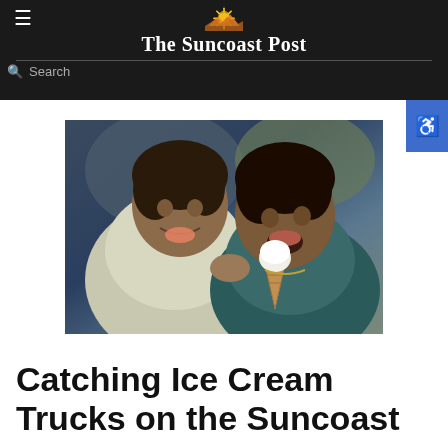The Suncoast Post
[Figure (photo): Two young children sharing an ice cream cone, both leaning in to lick it, photographed in a candid outdoor setting.]
Catching Ice Cream Trucks on the Suncoast